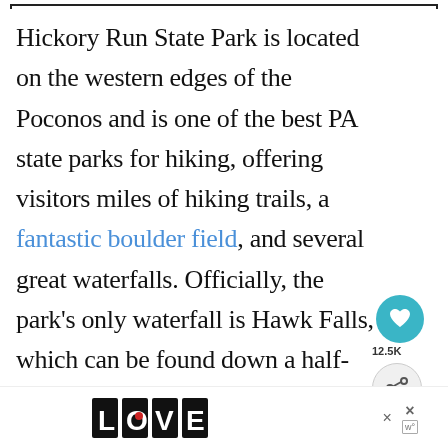Hickory Run State Park is located on the western edges of the Poconos and is one of the best PA state parks for hiking, offering visitors miles of hiking trails, a fantastic boulder field, and several great waterfalls. Officially, the park's only waterfall is Hawk Falls, which can be found down a half-mile trail in the southeastern corner of the park
[Figure (screenshot): Web UI overlay elements: heart/save button with teal background showing 12.5K count, share button, WHAT'S NEXT panel showing 'The 7 Man-Made Wond...', LOVE logo advertisement at bottom with close buttons]